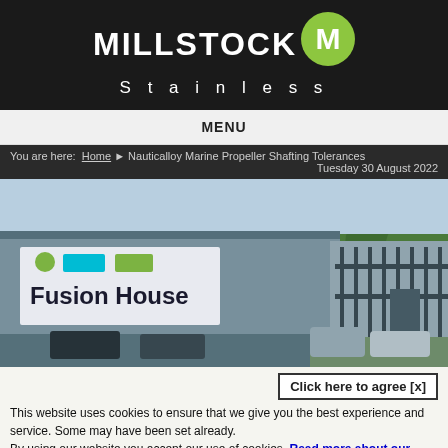[Figure (logo): Millstock Stainless logo with white text on dark background and green circle with M icon]
MENU
You are here: Home ▶ Nauticalloy Marine Propeller Shafting Tolerances
Tuesday 30 August 2022
[Figure (photo): Exterior photo of Fusion House industrial building with security gates and Q4A certification logos]
Click here to agree [x]
This website uses cookies to ensure that we give you the best experience and service. Some may have been set already.
By using our website you accept our use of cookies. Read more about our cookies here (opens in new window).